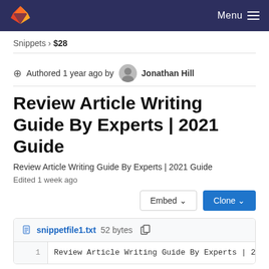Menu
Snippets › $28
⊕ Authored 1 year ago by Jonathan Hill
Review Article Writing Guide By Experts | 2021 Guide
Review Article Writing Guide By Experts | 2021 Guide
Edited 1 week ago
Embed ∨  Clone ∨
snippetfile1.txt 52 bytes
1  Review Article Writing Guide By Experts | 2021